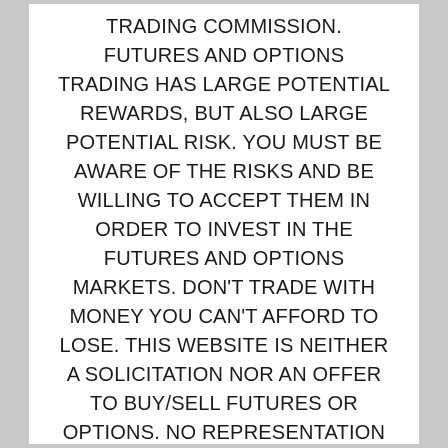TRADING COMMISSION. FUTURES AND OPTIONS TRADING HAS LARGE POTENTIAL REWARDS, BUT ALSO LARGE POTENTIAL RISK. YOU MUST BE AWARE OF THE RISKS AND BE WILLING TO ACCEPT THEM IN ORDER TO INVEST IN THE FUTURES AND OPTIONS MARKETS. DON'T TRADE WITH MONEY YOU CAN'T AFFORD TO LOSE. THIS WEBSITE IS NEITHER A SOLICITATION NOR AN OFFER TO BUY/SELL FUTURES OR OPTIONS. NO REPRESENTATION IS BEING MADE THAT ANY ACCOUNT WILL OR IS LIKELY TO ACHIEVE PROFITS OR LOSSES SIMILAR TO THOSE DISCUSSED ON THIS WEBSITE. THE PAST PERFORMANCE OF ANY